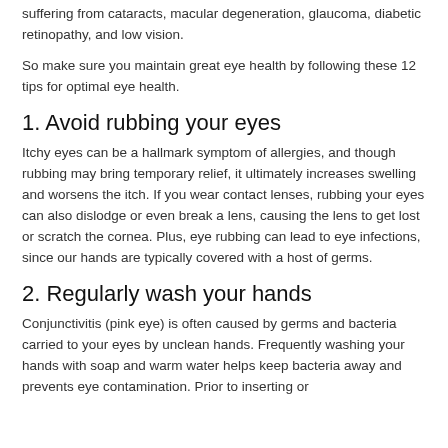suffering from cataracts, macular degeneration, glaucoma, diabetic retinopathy, and low vision.
So make sure you maintain great eye health by following these 12 tips for optimal eye health.
1. Avoid rubbing your eyes
Itchy eyes can be a hallmark symptom of allergies, and though rubbing may bring temporary relief, it ultimately increases swelling and worsens the itch. If you wear contact lenses, rubbing your eyes can also dislodge or even break a lens, causing the lens to get lost or scratch the cornea. Plus, eye rubbing can lead to eye infections, since our hands are typically covered with a host of germs.
2. Regularly wash your hands
Conjunctivitis (pink eye) is often caused by germs and bacteria carried to your eyes by unclean hands. Frequently washing your hands with soap and warm water helps keep bacteria away and prevents eye contamination. Prior to inserting or